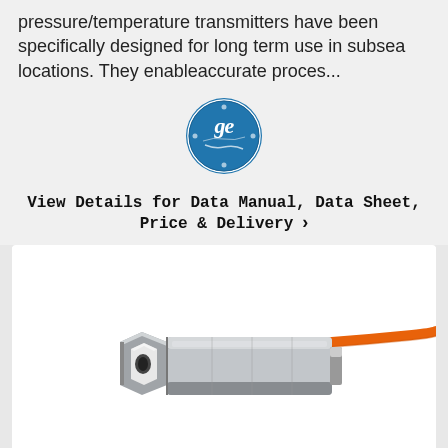pressure/temperature transmitters have been specifically designed for long term use in subsea locations. They enableaccurate proces...
[Figure (logo): GE (General Electric) circular blue logo with white GE script lettering and decorative swirl elements]
View Details for Data Manual, Data Sheet, Price & Delivery ›
[Figure (photo): A cylindrical stainless steel pressure/temperature transmitter sensor with a hexagonal fitting on the left end and an orange cable exiting from the right end, shown on white background]